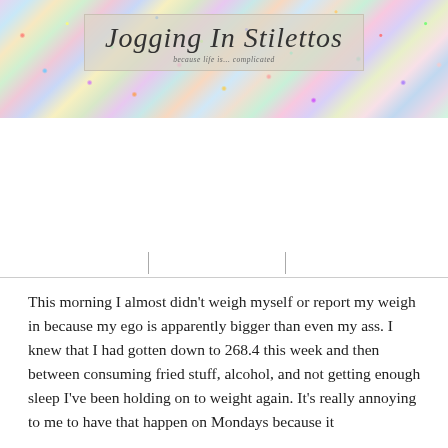[Figure (illustration): Sparkly glitter banner header for blog 'Jogging In Stilettos' with subtitle 'because life is... complicated']
Jogging In Stilettos
because life is... complicated
This morning I almost didn't weigh myself or report my weigh in because my ego is apparently bigger than even my ass. I knew that I had gotten down to 268.4 this week and then between consuming fried stuff, alcohol, and not getting enough sleep I've been holding on to weight again. It's really annoying to me to have that happen on Mondays because it